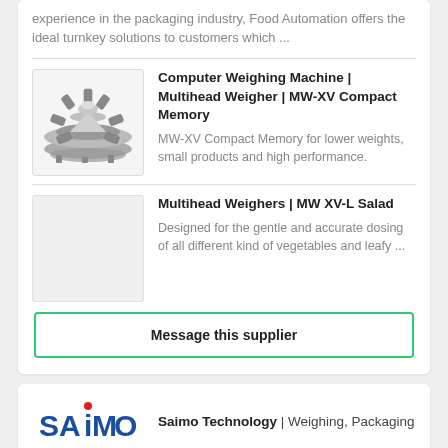experience in the packaging industry, Food Automation offers the ideal turnkey solutions to customers which ...
[Figure (photo): Photo of a multihead weigher machine, circular with multiple hoppers, metallic]
Computer Weighing Machine | Multihead Weigher | MW-XV Compact Memory
MW-XV Compact Memory for lower weights, small products and high performance.
Multihead Weighers | MW XV-L Salad
Designed for the gentle and accurate dosing of all different kind of vegetables and leafy ...
Message this supplier
[Figure (logo): Saimo logo in blue and red]
Saimo Technology | Weighing, Packaging